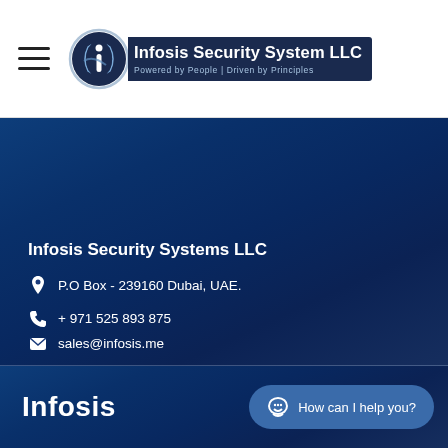[Figure (logo): Infosis Security System LLC logo with globe/shield icon and dark blue banner reading 'Powered by People | Driven by Principles']
Infosis Security Systems LLC
P.O Box - 239160 Dubai, UAE.
+ 971 525 893 875
sales@infosis.me
Infosis
How can I help you?